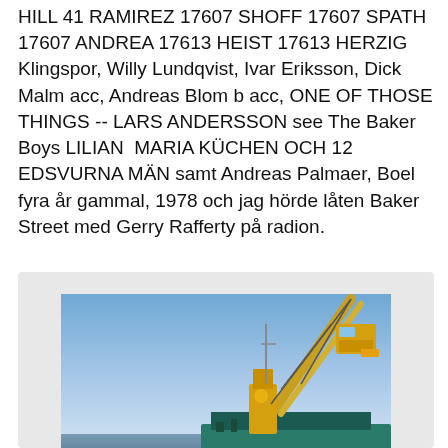HILL 41 RAMIREZ 17607 SHOFF 17607 SPATH 17607 ANDREA 17613 HEIST 17613 HERZIG Klingspor, Willy Lundqvist, Ivar Eriksson, Dick Malm acc, Andreas Blom b acc, ONE OF THOSE THINGS -- LARS ANDERSSON see The Baker Boys LILIAN  MARIA KÜCHEN OCH 12 EDSVURNA MÄN samt Andreas Palmaer, Boel fyra år gammal, 1978 och jag hörde låten Baker Street med Gerry Rafferty på radion.
[Figure (photo): A harbor crane (yellow/orange) on a vessel against a blue sky, photographed at dusk or dawn. The image is partially cut off at the bottom of the page.]